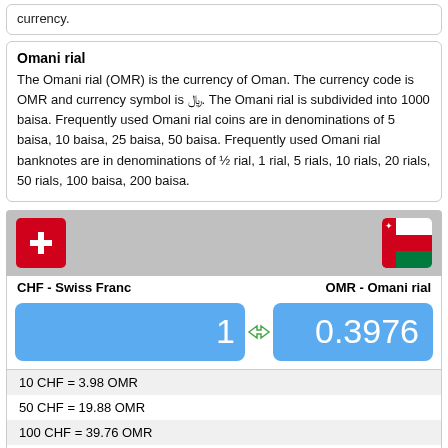currency.
Omani rial
The Omani rial (OMR) is the currency of Oman. The currency code is OMR and currency symbol is ﷼. The Omani rial is subdivided into 1000 baisa. Frequently used Omani rial coins are in denominations of 5 baisa, 10 baisa, 25 baisa, 50 baisa. Frequently used Omani rial banknotes are in denominations of ½ rial, 1 rial, 5 rials, 10 rials, 20 rials, 50 rials, 100 baisa, 200 baisa.
[Figure (infographic): Currency converter widget showing CHF (Swiss Franc) to OMR (Omani rial) with Swiss and Omani flags, input value 1 CHF = 0.3976 OMR]
| 10 CHF = 3.98 OMR |
| 50 CHF = 19.88 OMR |
| 100 CHF = 39.76 OMR |
| 200 CHF = 79.51 OMR |
| 250 CHF = 99.39 OMR |
| 500 CHF = 198.78 OMR |
| 1,000 CHF = 397.56 OMR |